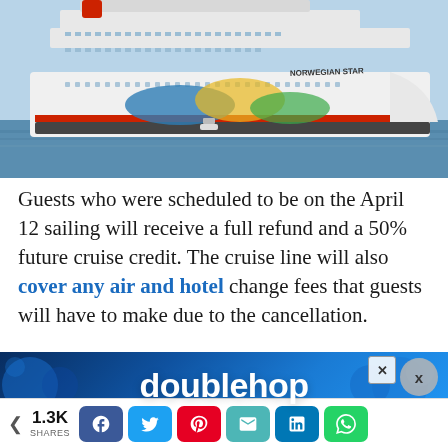[Figure (photo): Large white cruise ship (Norwegian Star) at port with colorful hull art, blue sky and sea in background]
Guests who were scheduled to be on the April 12 sailing will receive a full refund and a 50% future cruise credit. The cruise line will also cover any air and hotel change fees that guests will have to make due to the cancellation.
[Figure (other): doublehop advertisement banner with dark blue background and circular logo elements]
The N... ...15
< 1.3K SHARES [Facebook] [Twitter] [Pinterest] [Email] [LinkedIn] [WhatsApp]